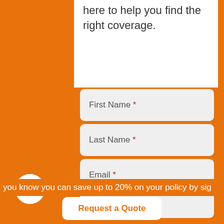here to help you find the right coverage.
First Name *
Last Name *
Email *
Phone Number *
you know you can save up to 20% on your policy by sig
Request a Quote